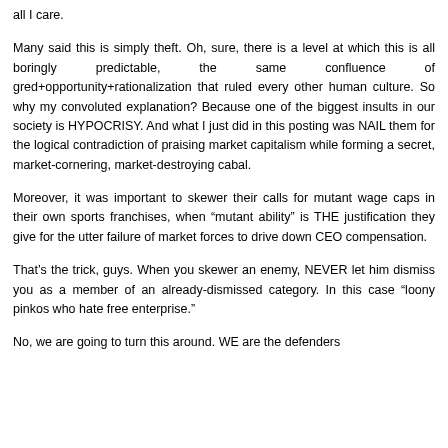all I care.
Many said this is simply theft. Oh, sure, there is a level at which this is all boringly predictable, the same confluence of gred+opportunity+rationalization that ruled every other human culture. So why my convoluted explanation? Because one of the biggest insults in our society is HYPOCRISY. And what I just did in this posting was NAIL them for the logical contradiction of praising market capitalism while forming a secret, market-cornering, market-destroying cabal.
Moreover, it was important to skewer their calls for mutant wage caps in their own sports franchises, when “mutant ability” is THE justification they give for the utter failure of market forces to drive down CEO compensation.
That’s the trick, guys. When you skewer an enemy, NEVER let him dismiss you as a member of an already-dismissed category. In this case “loony pinkos who hate free enterprise.”
No, we are going to turn this around. WE are the defenders...